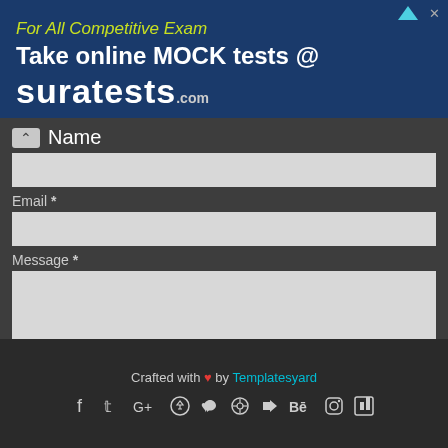[Figure (screenshot): Advertisement banner for suratests.com - For All Competitive Exam, Take online MOCK tests @ suratests.com]
Name
Email *
Message *
Send
Crafted with ❤ by Templatesyard
[Figure (infographic): Social media icons: Facebook, Twitter, Google+, Pinterest, Heart/Tumblr, Dribbble, RSS, Behance, Instagram, Halftone/500px]